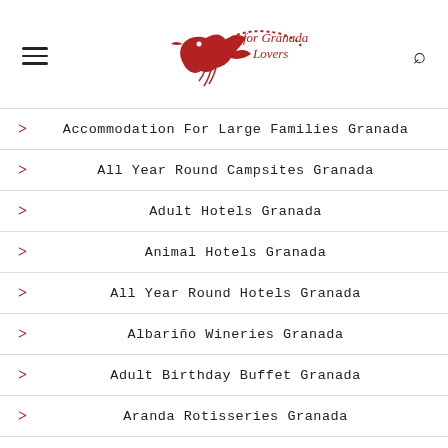for Granada Lovers
Accommodation For Large Families Granada
All Year Round Campsites Granada
Adult Hotels Granada
Animal Hotels Granada
All Year Round Hotels Granada
Albariño Wineries Granada
Adult Birthday Buffet Granada
Aranda Rotisseries Granada
Argentinian Patisseries Granada